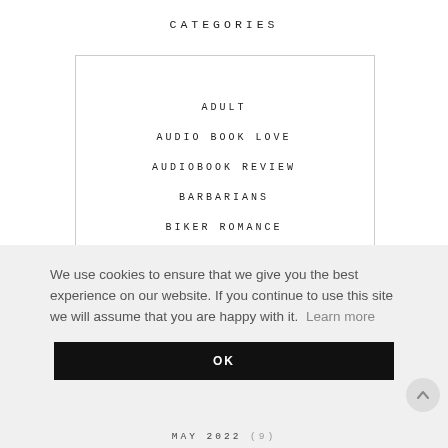CATEGORIES
ADULT
AUDIO BOOK LOVE
AUDIOBOOK REVIEW
BARBARIANS
BIKER ROMANCE
BOOK REVIEW
We use cookies to ensure that we give you the best experience on our website. If you continue to use this site we will assume that you are happy with it. Learn more
OK
MAY 2022 (9)